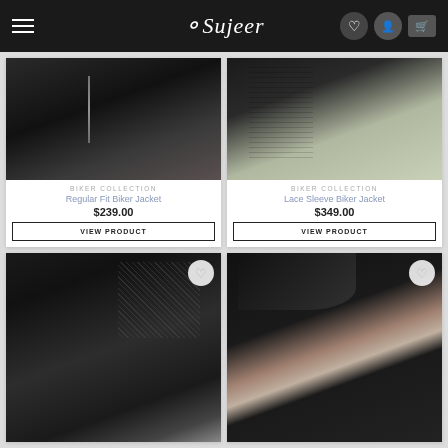Sujeer — navigation bar with hamburger menu, logo, heart, user, and cart icons
[Figure (photo): Product photo of Regular Fit Biker Jacket in black leather, model wearing it, top portion visible]
BIKER COLLECTION
Regular Fit Biker Jacket
$239.00
VIEW PRODUCT
[Figure (photo): Product photo of Lace Sleeve Biker Jacket in black, model wearing with light skirt, top portion visible]
BIKER COLLECTION
Lace Sleeve Biker Jacket
$349.00
VIEW PRODUCT
[Figure (photo): Product photo of a black leather biker jacket on female model, full-body view, bottom row left]
[Figure (photo): Product photo of a black leather biker jacket with fur collar on female model, bottom row right]